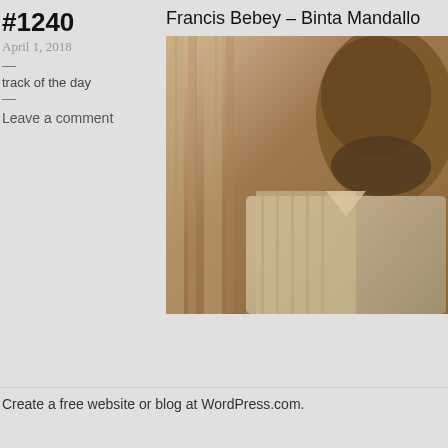#1240
Francis Bebey – Binta Mandallo
April 1, 2018
—
track of the day
—
Leave a comment
[Figure (photo): Sepia-toned photograph of a man, cropped showing face and upper body, wearing a light-colored shirt, with striped background]
Create a free website or blog at WordPress.com.